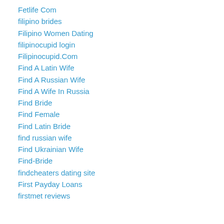Fetlife Com
filipino brides
Filipino Women Dating
filipinocupid login
Filipinocupid.Com
Find A Latin Wife
Find A Russian Wife
Find A Wife In Russia
Find Bride
Find Female
Find Latin Bride
find russian wife
Find Ukrainian Wife
Find-Bride
findcheaters dating site
First Payday Loans
firstmet reviews